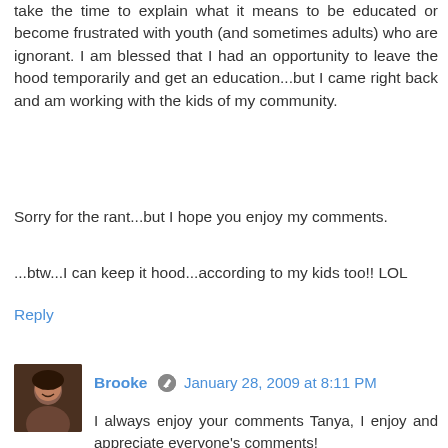take the time to explain what it means to be educated or become frustrated with youth (and sometimes adults) who are ignorant. I am blessed that I had an opportunity to leave the hood temporarily and get an education...but I came right back and am working with the kids of my community.
Sorry for the rant...but I hope you enjoy my comments.
...btw...I can keep it hood...according to my kids too!! LOL
Reply
[Figure (photo): Avatar photo of Brooke, a woman smiling]
Brooke  January 28, 2009 at 8:11 PM
I always enjoy your comments Tanya, I enjoy and appreciate everyone's comments!
It's great that you're an example to them. Not an example of what "being white" is, but of what an intelligent person sounds like. And you don't have to go to some fancy university to speak standard English. Sometimes I hear kids on the train saying "like'tid" (I don't even know how to